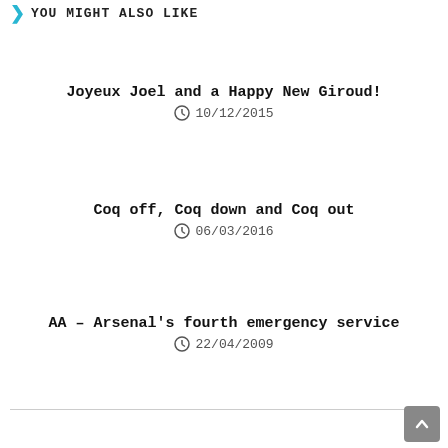YOU MIGHT ALSO LIKE
Joyeux Joel and a Happy New Giroud!
10/12/2015
Coq off, Coq down and Coq out
06/03/2016
AA – Arsenal's fourth emergency service
22/04/2009